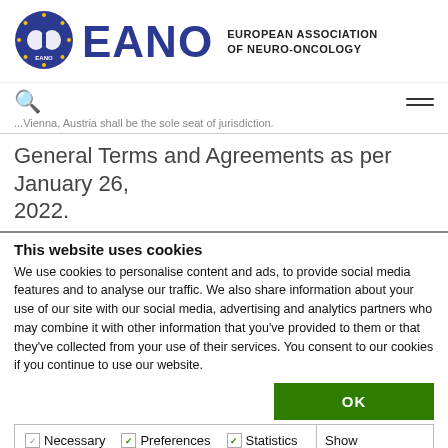[Figure (logo): EANO European Association of Neuro-Oncology logo with circular emblem]
EANO — EUROPEAN ASSOCIATION OF NEURO-ONCOLOGY
...Vienna, Austria shall be the sole seat of jurisdiction.
General Terms and Agreements as per January 26, 2022.
This website uses cookies
We use cookies to personalise content and ads, to provide social media features and to analyse our traffic. We also share information about your use of our site with our social media, advertising and analytics partners who may combine it with other information that you've provided to them or that they've collected from your use of their services. You consent to our cookies if you continue to use our website.
OK
Necessary  Preferences  Statistics  Marketing  Show details